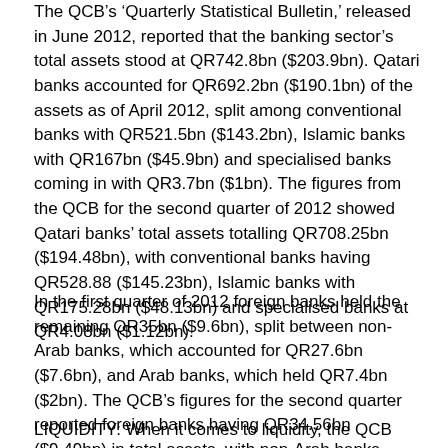The QCB's 'Quarterly Statistical Bulletin,' released in June 2012, reported that the banking sector's total assets stood at QR742.8bn ($203.9bn). Qatari banks accounted for QR692.2bn ($190.1bn) of the assets as of April 2012, split among conventional banks with QR521.5bn ($143.2bn), Islamic banks with QR167bn ($45.9bn) and specialised banks coming in with QR3.7bn ($1bn). The figures from the QCB for the second quarter of 2012 showed Qatari banks' total assets totalling QR708.25bn ($194.48bn), with conventional banks having QR528.88 ($145.23bn), Islamic banks with QR175.28bn ($48.13bn) and specialised banks at QR4.08bn ($1.12bn).
In the first quarter of 2012 foreign banks held the remaining QR35bn ($9.6bn), split between non-Arab banks, which accounted for QR27.6bn ($7.6bn), and Arab banks, which held QR7.4bn ($2bn). The QCB's figures for the second quarter reported foreign banks having QR34.56bn ($9.49bn) in total assets, with non-Arab banks holding QR26.43bn ($7.25bn) and Arab banks having QR8.13bn ($2.23bn).
LIQUIDITY: When it comes to liquidity, the QCB data shows the